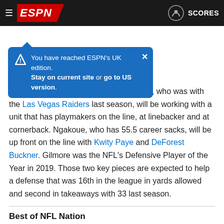ESPN header with hamburger menu, ESPN logo, user icon, SCORES
[Figure (screenshot): Blue tooltip banner: 'You have reached ESPN's UK edition. Stay on current site or go to US version.' with close X button and warning diamond icon]
Once Leonard gets fully healthy, Bradley, who was with the Las Vegas Raiders last season, will be working with a unit that has playmakers on the line, at linebacker and at cornerback. Ngakoue, who has 55.5 career sacks, will be up front on the line with Kwity Paye and DeForest Buckner. Gilmore was the NFL's Defensive Player of the Year in 2019. Those two key pieces are expected to help a defense that was 16th in the league in yards allowed and second in takeaways with 33 last season.
Best of NFL Nation
Can Bradley Chubb get back to form?
Raiders DEs Jones, Crosby set to thrive